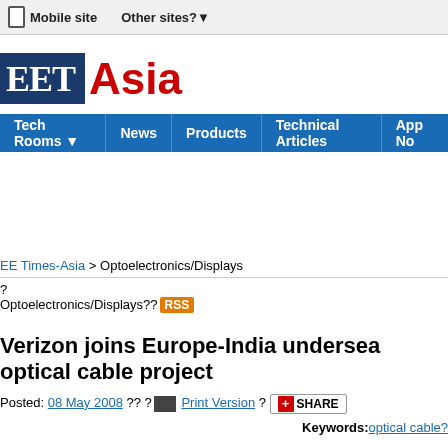Mobile site   Other sites?
[Figure (logo): EET Asia logo — 'EET' in white on dark blue background, 'Asia' in red text]
Tech Rooms   News   Products   Technical Articles   App No
EE Times-Asia > Optoelectronics/Displays
? Optoelectronics/Displays?? RSS
Verizon joins Europe-India undersea optical cable project
Posted: 08 May 2008 ?? ? Print Version ? SHARE
Keywords: optical cable?